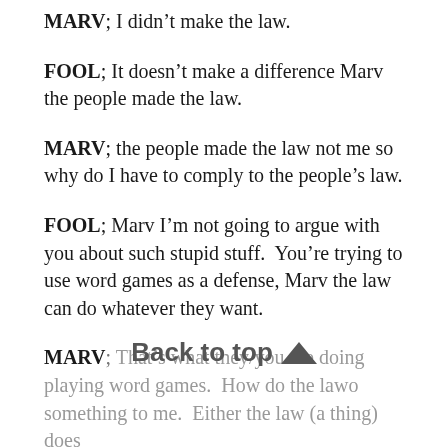MARV; I didn't make the law.
FOOL; It doesn't make a difference Marv the people made the law.
MARV; the people made the law not me so why do I have to comply to the people's law.
FOOL; Marv I'm not going to argue with you about such stupid stuff. You're trying to use word games as a defense, Marv the law can do whatever they want.
MARV; That's what they/you are doing playing word games. Ho[w do the law]o [something] to me. Either the law (a thing) does some[thing to someone then the person has]
[Figure (other): Back to top button overlay with upward arrow, partially obscuring the last dialogue text]